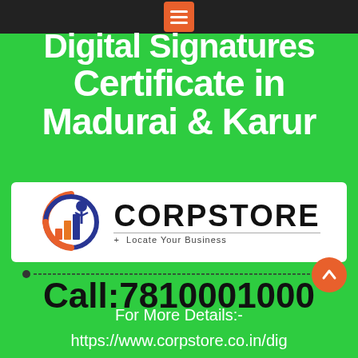Digital Signature Certificate in Madurai & Karur
[Figure (logo): Corpstore logo with circular icon featuring a person with bar charts, orange and blue colors. Text: CORPSTORE + Locate Your Business]
Call:7810001000
For More Details:-
https://www.corpstore.co.in/dig